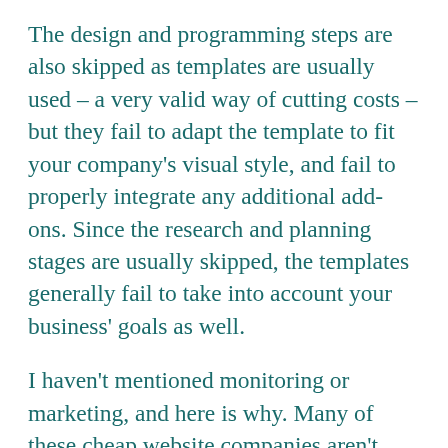The design and programming steps are also skipped as templates are usually used – a very valid way of cutting costs – but they fail to adapt the template to fit your company's visual style, and fail to properly integrate any additional add-ons. Since the research and planning stages are usually skipped, the templates generally fail to take into account your business' goals as well.
I haven't mentioned monitoring or marketing, and here is why. Many of these cheap website companies aren't interested in building a relationship with you, they are only interested in delivering you a website as quickly, and as cheaply as possible, and move on to the next client. They work on quantity and not quality.
Those that do offer marketing and monitoring